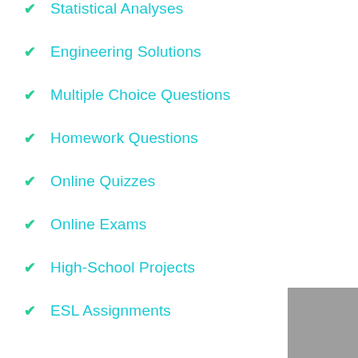Statistical Analyses
Engineering Solutions
Multiple Choice Questions
Homework Questions
Online Quizzes
Online Exams
High-School Projects
ESL Assignments